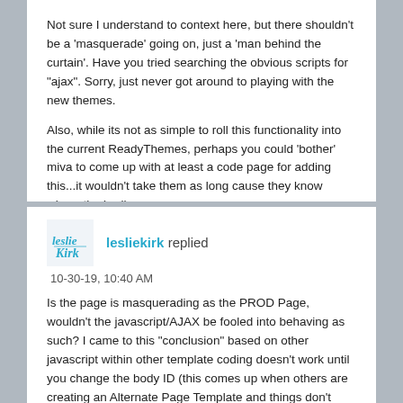Not sure I understand to context here, but there shouldn't be a 'masquerade' going on, just a 'man behind the curtain'. Have you tried searching the obvious scripts for "ajax". Sorry, just never got around to playing with the new themes.
Also, while its not as simple to roll this functionality into the current ReadyThemes, perhaps you could 'bother' miva to come up with at least a code page for adding this...it wouldn't take them as long cause they know where the bodies are.
lesliekirk replied
10-30-19, 10:40 AM
Is the page is masquerading as the PROD Page, wouldn't the javascript/AJAX be fooled into behaving as such? I came to this "conclusion" based on other javascript within other template coding doesn't work until you change the body ID (this comes up when others are creating an Alternate Page Template and things don't quite work as expected, the first thing suggested is to change the body ID).
With that said. Here is the PROD Page Add to Cart form